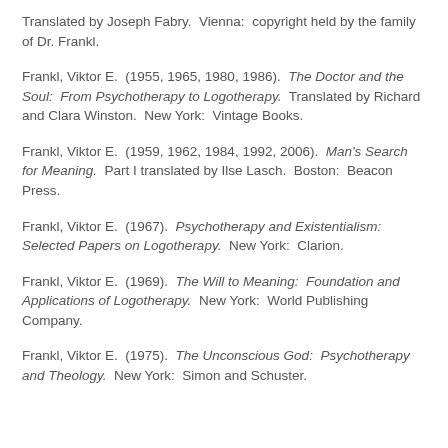Translated by Joseph Fabry.  Vienna:  copyright held by the family of Dr. Frankl.
Frankl, Viktor E.  (1955, 1965, 1980, 1986).  The Doctor and the Soul:  From Psychotherapy to Logotherapy.  Translated by Richard and Clara Winston.  New York:  Vintage Books.
Frankl, Viktor E.  (1959, 1962, 1984, 1992, 2006).  Man's Search for Meaning.  Part I translated by Ilse Lasch.  Boston:  Beacon Press.
Frankl, Viktor E.  (1967).  Psychotherapy and Existentialism:  Selected Papers on Logotherapy.  New York:  Clarion.
Frankl, Viktor E.  (1969).  The Will to Meaning:  Foundation and Applications of Logotherapy.  New York:  World Publishing Company.
Frankl, Viktor E.  (1975).  The Unconscious God:  Psychotherapy and Theology.  New York:  Simon and Schuster.